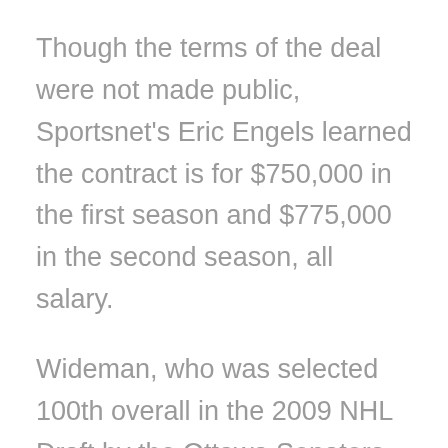Though the terms of the deal were not made public, Sportsnet's Eric Engels learned the contract is for $750,000 in the first season and $775,000 in the second season, all salary.
Wideman, who was selected 100th overall in the 2009 NHL Draft by the Ottawa Senators, joined the Canadiens on a one-year, $750,000 deal in July of 2021. He scored four goals and added 23 assists across 64 games with Montreal last season.
The 32-year-old has appeared in 245 NHL games so far in his career, scoring 20 goals and assisting